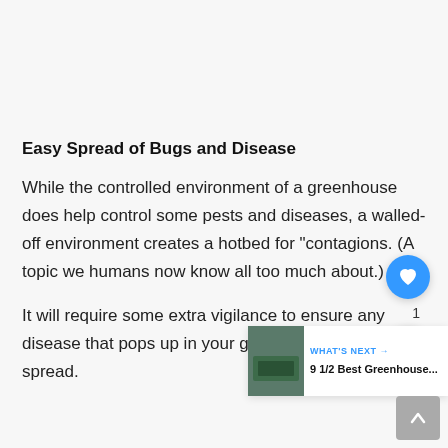Easy Spread of Bugs and Disease
While the controlled environment of a greenhouse does help control some pests and diseases, a walled-off environment creates a hotbed for “contagions. (A topic we humans now know all too much about.)
It will require some extra vigilance to ensure any disease that pops up in your greenhouse doesn’t spread.